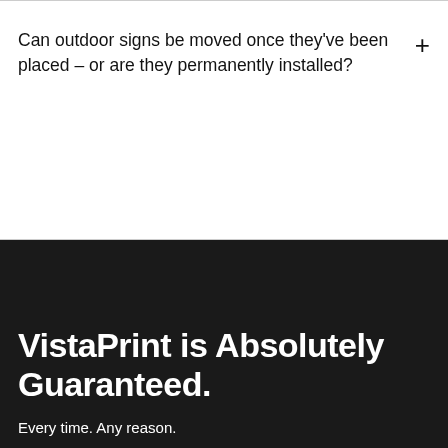Can outdoor signs be moved once they've been placed – or are they permanently installed?
VistaPrint is Absolutely Guaranteed.
Every time. Any reason.